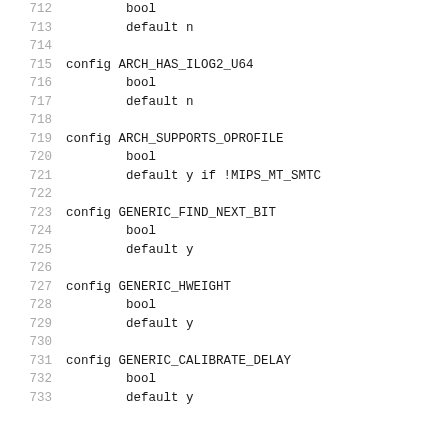712    bool
713            default n
714
715    config ARCH_HAS_ILOG2_U64
716            bool
717            default n
718
719    config ARCH_SUPPORTS_OPROFILE
720            bool
721            default y if !MIPS_MT_SMTC
722
723    config GENERIC_FIND_NEXT_BIT
724            bool
725            default y
726
727    config GENERIC_HWEIGHT
728            bool
729            default y
730
731    config GENERIC_CALIBRATE_DELAY
732            bool
733            default y